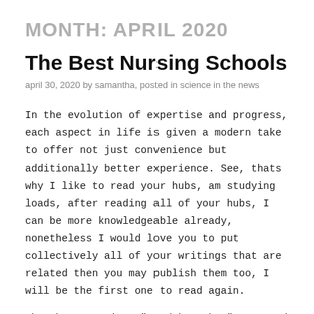MONTH: APRIL 2020
The Best Nursing Schools
april 30, 2020 by samantha, posted in science in the news
In the evolution of expertise and progress, each aspect in life is given a modern take to offer not just convenience but additionally better experience. See, thats why I like to read your hubs, am studying loads, after reading all of your hubs, I can be more knowledgeable already, nonetheless I would love you to put collectively all of your writings that are related then you may publish them too, I will be the first one to read again.
The phrases science” and know-how” are used interchangeably. And yes his supporters are the